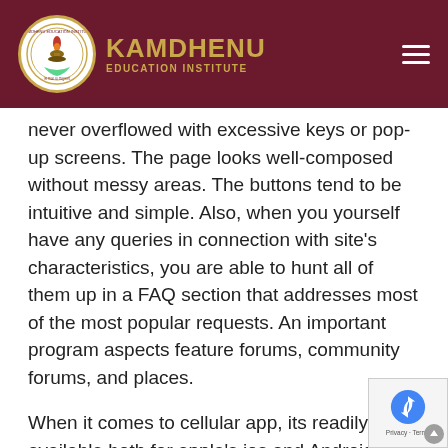KAMDHENU EDUCATION INSTITUTE
never overflowed with excessive keys or pop-up screens. The page looks well-composed without messy areas. The buttons tend to be intuitive and simple. Also, when you yourself have any queries in connection with site's characteristics, you are able to hunt all of them up in a FAQ section that addresses most of the most popular requests. An important program aspects feature forums, community forums, and places.
When it comes to cellular app, its readily available both for apple's ios and Android os consumers. With a breezy enrollment, the software retains all prim features of Wireclub and tends to make the experience a lot more comfy on the go. But isn't